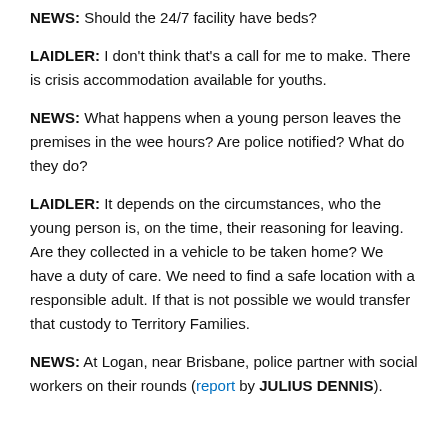NEWS: Should the 24/7 facility have beds?
LAIDLER: I don't think that's a call for me to make. There is crisis accommodation available for youths.
NEWS: What happens when a young person leaves the premises in the wee hours? Are police notified? What do they do?
LAIDLER: It depends on the circumstances, who the young person is, on the time, their reasoning for leaving. Are they collected in a vehicle to be taken home? We have a duty of care. We need to find a safe location with a responsible adult. If that is not possible we would transfer that custody to Territory Families.
NEWS: At Logan, near Brisbane, police partner with social workers on their rounds (report by JULIUS DENNIS).